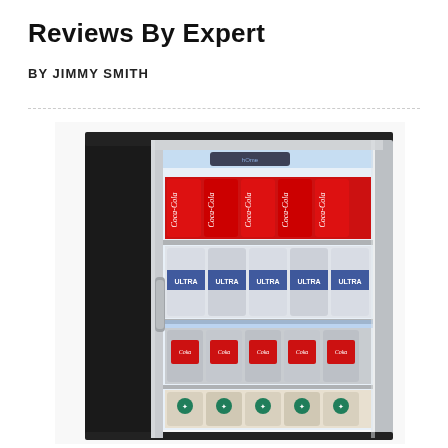Reviews By Expert
BY JIMMY SMITH
[Figure (photo): A glass-door beverage refrigerator/cooler stocked with multiple shelves of cans: top shelf has Coca-Cola cans, second shelf has Michelob Ultra cans, third shelf has Coca-Cola cans, and bottom shelf has Starbucks canned drinks. The fridge has a stainless steel frame and black sides.]